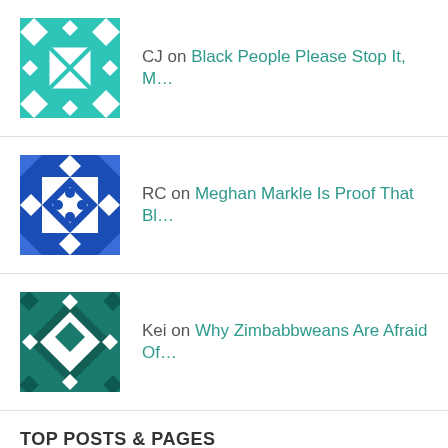CJ on Black People Please Stop It, M...
RC on Meghan Markle Is Proof That Bl...
Kei on Why Zimbabbweans Are Afraid Of...
TOP POSTS & PAGES
Dear Black People, Sorry But Baby Archie Is Not Black
Why Do Women Feel The Need To Pose Nude When Pregnant?
Why Zimbabwean Women Are The Concubines Of West